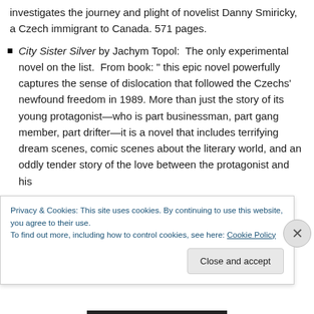investigates the journey and plight of novelist Danny Smiricky, a Czech immigrant to Canada. 571 pages.
City Sister Silver by Jachym Topol:  The only experimental novel on the list.  From book: " this epic novel powerfully captures the sense of dislocation that followed the Czechs' newfound freedom in 1989. More than just the story of its young protagonist—who is part businessman, part gang member, part drifter—it is a novel that includes terrifying dream scenes, comic scenes about the literary world, and an oddly tender story of the love between the protagonist and his
Privacy & Cookies: This site uses cookies. By continuing to use this website, you agree to their use.
To find out more, including how to control cookies, see here: Cookie Policy